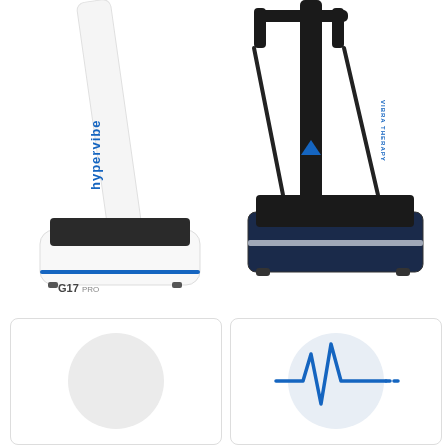[Figure (photo): Hypervibe G17 Pro whole body vibration machine — white platform unit with black standing pad and white upright pole with blue 'hypervibe' branding text]
[Figure (photo): Vibra Therapy whole body vibration machine — black platform unit with resistance bands and black upright pole with 'VIBRA THERAPY' branding]
[Figure (illustration): Shopping basket app icon with blue rounded-square background and a green notification badge showing '0']
[Figure (illustration): Light grey circle placeholder icon inside a white card panel with rounded corners and border]
[Figure (illustration): Blue heartbeat / pulse waveform icon inside a light grey circle on a white card panel with rounded corners and border]